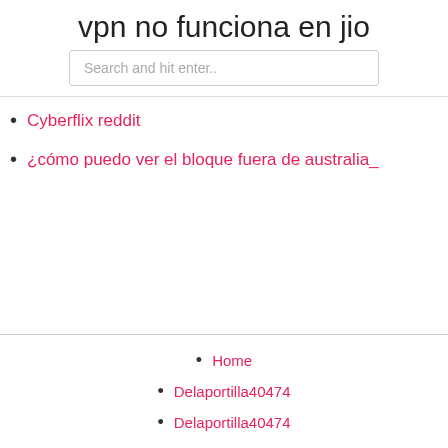vpn no funciona en jio
Search and hit enter..
Cyberflix reddit
¿cómo puedo ver el bloque fuera de australia_
Home
Delaportilla40474
Delaportilla40474